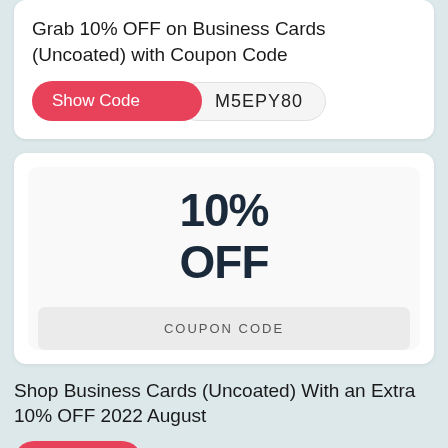Grab 10% OFF on Business Cards (Uncoated) with Coupon Code
[Figure (infographic): Pink 'Show Code' button overlapping a pill-shaped field showing coupon code text 'M5EPY80']
[Figure (infographic): Coupon card showing '10% OFF' in large bold text and a 'COUPON CODE' grey bar below]
Shop Business Cards (Uncoated) With an Extra 10% OFF 2022 August
[Figure (infographic): Partial pink 'Show Code' button visible at bottom of page]